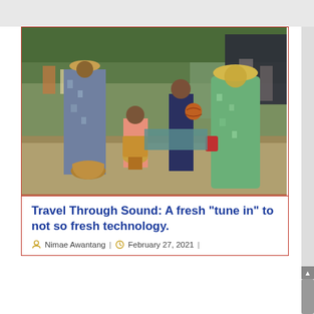[Figure (photo): Outdoor scene with African musicians and performers in colorful traditional floral dresses and wide-brim straw hats. A child sits playing a djembe drum, another child stands nearby, and a woman in a long floral dress is seen from behind. Baskets are on the ground. Tourists and greenery visible in the background.]
Travel Through Sound: A fresh “tune in” to not so fresh technology.
Nimae Awantang | February 27, 2021 |